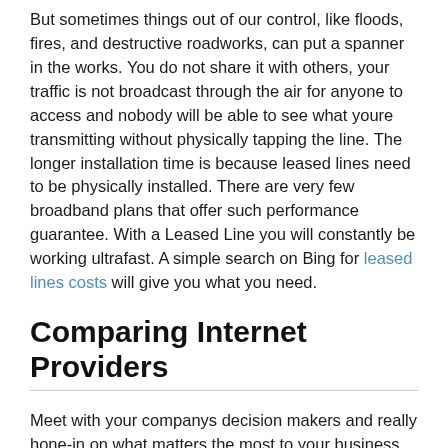But sometimes things out of our control, like floods, fires, and destructive roadworks, can put a spanner in the works. You do not share it with others, your traffic is not broadcast through the air for anyone to access and nobody will be able to see what youre transmitting without physically tapping the line. The longer installation time is because leased lines need to be physically installed. There are very few broadband plans that offer such performance guarantee. With a Leased Line you will constantly be working ultrafast. A simple search on Bing for leased lines costs will give you what you need.
Comparing Internet Providers
Meet with your companys decision makers and really hone-in on what matters the most to your business. The cost of a LEASED LINE SERVICE is dependent upon your business location. With peace of mind you and your employees can now use all the data you need. A leased line is a dedicated, fixed bandwidth